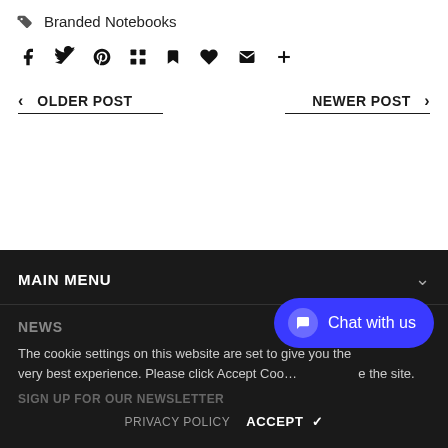Branded Notebooks
[Figure (infographic): Row of social sharing icons: Facebook, Twitter, Pinterest, Grid/Apps, Bookmark, Heart/Like, Email, Plus]
< OLDER POST
NEWER POST >
MAIN MENU
NEWS
The cookie settings on this website are set to give you the very best experience. Please click Accept Cookies to continue to use the site.
PRIVACY POLICY   ACCEPT ✓
[Figure (infographic): Blue rounded chat button with speech bubble icon and text 'Chat with us']